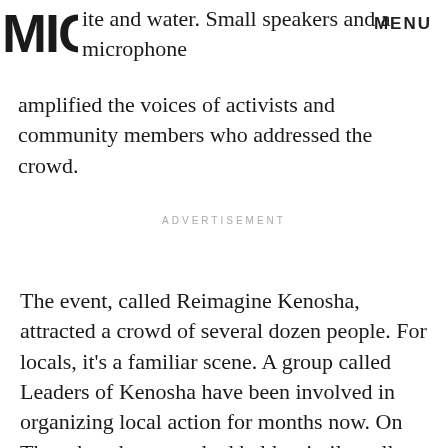MIC | MENU
ite and water. Small speakers and a microphone amplified the voices of activists and community members who addressed the crowd.
ADVERTISEMENT
The event, called Reimagine Kenosha, attracted a crowd of several dozen people. For locals, it’s a familiar scene. A group called Leaders of Kenosha have been involved in organizing local action for months now. On Thursday, the group had held a similar rally that invited